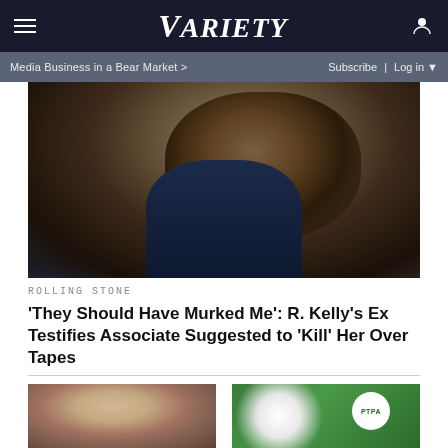VARIETY
Media Business in a Bear Market >  Subscribe | Log in
[Figure (photo): Close-up photo of a Black man wearing dark sunglasses and a suit with a dark tie, photographed from a side/low angle against a blurred outdoor background.]
ROLLING STONE
'They Should Have Murked Me': R. Kelly's Ex Testifies Associate Suggested to 'Kill' Her Over Tapes
[Figure (photo): Photo of an older heavyset white man with light reddish-blonde hair, looking downward, outdoors.]
[Figure (photo): Collage of polaroid-style photos of men in suits on a green tennis court background with a PTPA logo badge.]